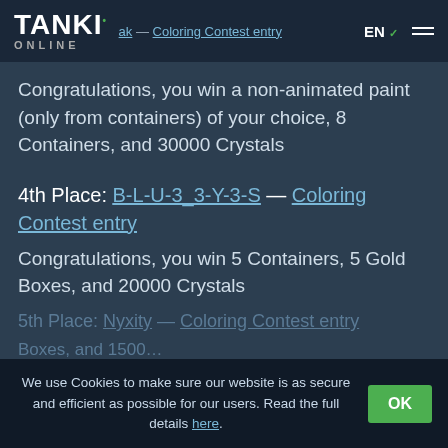TANKI ONLINE — Coloring Contest entry EN
Congratulations, you win a non-animated paint (only from containers) of your choice, 8 Containers, and 30000 Crystals
4th Place: B-L-U-3_3-Y-3-S — Coloring Contest entry
Congratulations, you win 5 Containers, 5 Gold Boxes, and 20000 Crystals
5th Place: Nyxity — Coloring Contest entry
We use Cookies to make sure our website is as secure and efficient as possible for our users. Read the full details here.